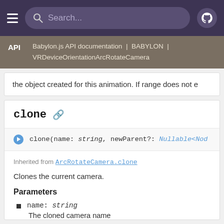Search... [navigation bar with hamburger menu and GitHub icon]
API | Babylon.js API documentation | BABYLON | VRDeviceOrientationArcRotateCamera
the object created for this animation. If range does not e
clone
clone(name: string, newParent?: Nullable<Nod
Inherited from ArcRotateCamera.clone
Clones the current camera.
Parameters
name: string
The cloned camera name